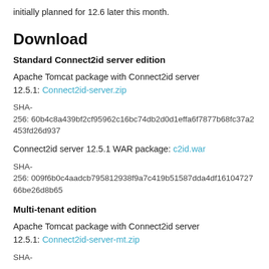initially planned for 12.6 later this month.
Download
Standard Connect2id server edition
Apache Tomcat package with Connect2id server 12.5.1: Connect2id-server.zip
SHA-256: 60b4c8a439bf2cf95962c16bc74db2d0d1effa6f7877b68fc37a2453fd26d937
Connect2id server 12.5.1 WAR package: c2id.war
SHA-256: 009f6b0c4aadcb795812938f9a7c419b51587dda4df1610472766be26d8b65
Multi-tenant edition
Apache Tomcat package with Connect2id server 12.5.1: Connect2id-server-mt.zip
SHA-